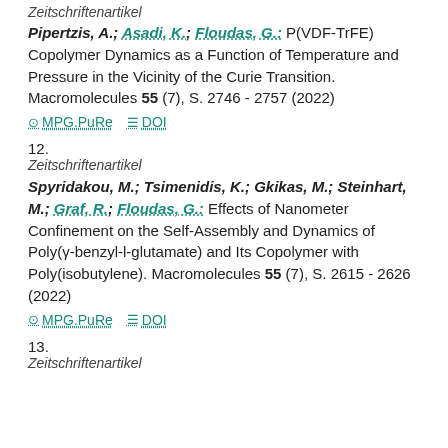Zeitschriftenartikel
Pipertzis, A.; Asadi, K.; Floudas, G.: P(VDF-TrFE) Copolymer Dynamics as a Function of Temperature and Pressure in the Vicinity of the Curie Transition. Macromolecules 55 (7), S. 2746 - 2757 (2022)
MPG.PuRe   DOI
12.
Zeitschriftenartikel
Spyridakou, M.; Tsimenidis, K.; Gkikas, M.; Steinhart, M.; Graf, R.; Floudas, G.: Effects of Nanometer Confinement on the Self-Assembly and Dynamics of Poly(γ-benzyl-l-glutamate) and Its Copolymer with Poly(isobutylene). Macromolecules 55 (7), S. 2615 - 2626 (2022)
MPG.PuRe   DOI
13.
Zeitschriftenartikel